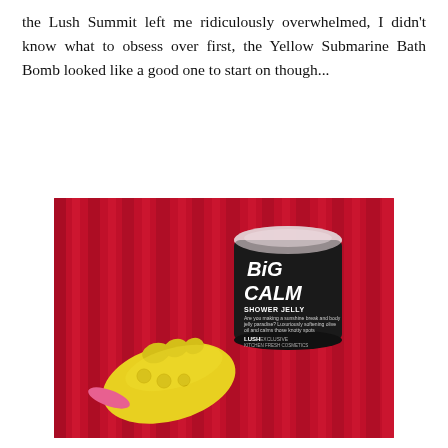the Lush Summit left me ridiculously overwhelmed, I didn't know what to obsess over first, the Yellow Submarine Bath Bomb looked like a good one to start on though...
[Figure (photo): Photo of a yellow submarine-shaped Lush bath bomb and a 'Big Calm Shower Jelly' product container with a black label, both placed on a crimson red fabric background with vertical folds.]